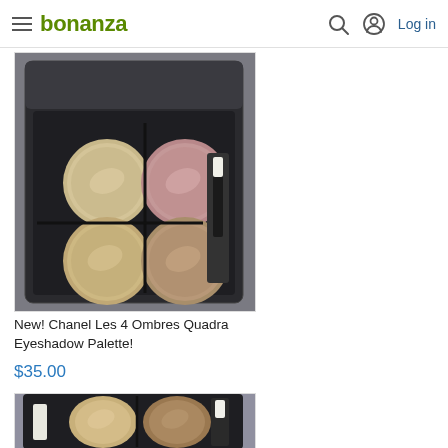bonanza — Log in
[Figure (photo): Chanel Les 4 Ombres Quadra Eyeshadow Palette open compact showing four shimmer eyeshadow pans and a small applicator brush]
New! Chanel Les 4 Ombres Quadra Eyeshadow Palette!
$35.00
[Figure (photo): Second Chanel Les 4 Ombres eyeshadow palette compact open showing four shimmer pans and applicator]